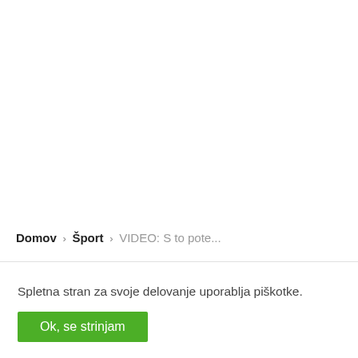[Figure (screenshot): Blank white area at the top of the page, representing empty content area above the breadcrumb navigation.]
Domov › Šport › VIDEO: S to pote...
Spletna stran za svoje delovanje uporablja piškotke.
Ok, se strinjam